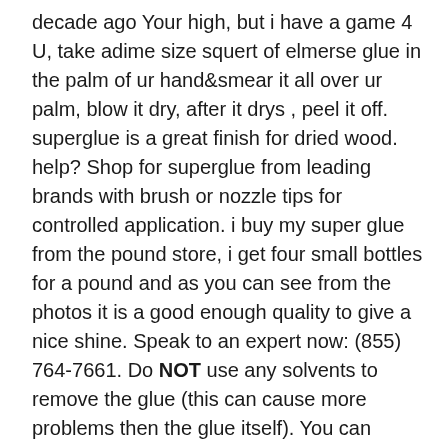decade ago Your high, but i have a game 4 U, take adime size squert of elmerse glue in the palm of ur hand&smear it all over ur palm, blow it dry, after it drys , peel it off. superglue is a great finish for dried wood. help? Shop for superglue from leading brands with brush or nozzle tips for controlled application. i buy my super glue from the pound store, i get four small bottles for a pound and as you can see from the photos it is a good enough quality to give a nice shine. Speak to an expert now: (855) 764-7661. Do NOT use any solvents to remove the glue (this can cause more problems then the glue itself). You can actually get away from asphyxiating if you manage to vomit right after you eat super glue so that the stomach acid can do some melting to the super glue. Loctite are providers of industrial adhesives and sealants for cleaning, lubrication and bonding. Loctite applicators come with airtight caps to keep bottles fresh. And the brand once again is loctite and she ate maybe a couple drops, trust me, it feels cool. Called poison control on